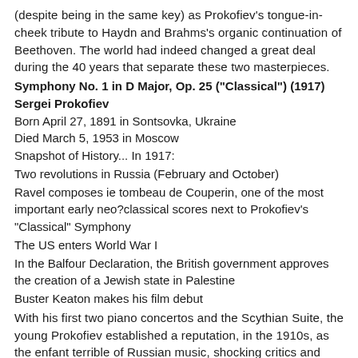(despite being in the same key) as Prokofiev's tongue-in-cheek tribute to Haydn and Brahms's organic continuation of Beethoven. The world had indeed changed a great deal during the 40 years that separate these two masterpieces.
Symphony No. 1 in D Major, Op. 25 ("Classical") (1917)
Sergei Prokofiev
Born April 27, 1891 in Sontsovka, Ukraine
Died March 5, 1953 in Moscow
Snapshot of History... In 1917:
Two revolutions in Russia (February and October)
Ravel composes ie tombeau de Couperin, one of the most important early neo?classical scores next to Prokofiev's "Classical" Symphony
The US enters World War I
In the Balfour Declaration, the British government approves the creation of a Jewish state in Palestine
Buster Keaton makes his film debut
With his first two piano concertos and the Scythian Suite, the young Prokofiev established a reputation, in the 1910s, as the enfant terrible of Russian music, shocking critics and audiences with his highly unconventional harmonies and wild rhythms. His early works seemed to be all about defying authority. He rebelled against his teachers at the St. Petersburg